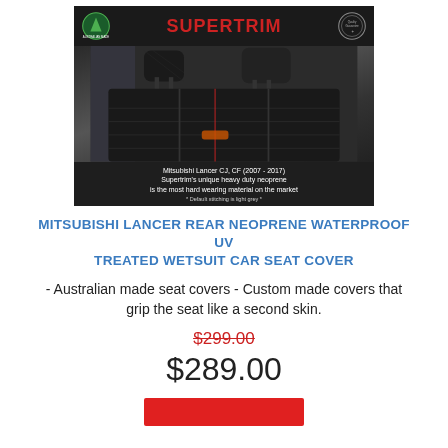[Figure (photo): Supertrim product image showing rear seat covers on a Mitsubishi Lancer CJ, CF (2007-2017). Dark background with Supertrim logo in red, Australian Made badge, quality badge. Caption reads: Mitsubishi Lancer CJ, CF (2007 - 2017) - Supertrim's unique heavy duty neoprene is the most hard wearing material on the market. * Default stitching is light grey *]
MITSUBISHI LANCER REAR NEOPRENE WATERPROOF UV TREATED WETSUIT CAR SEAT COVER
- Australian made seat covers - Custom made covers that grip the seat like a second skin.
$299.00
$289.00